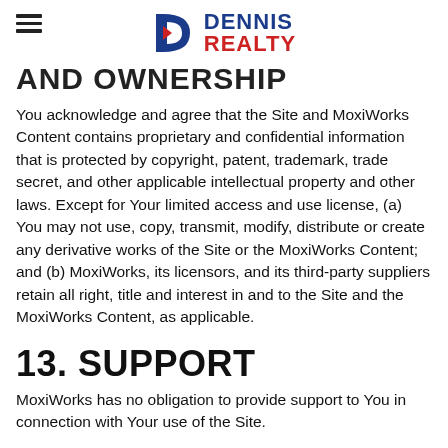Dennis Realty
AND OWNERSHIP
You acknowledge and agree that the Site and MoxiWorks Content contains proprietary and confidential information that is protected by copyright, patent, trademark, trade secret, and other applicable intellectual property and other laws. Except for Your limited access and use license, (a) You may not use, copy, transmit, modify, distribute or create any derivative works of the Site or the MoxiWorks Content; and (b) MoxiWorks, its licensors, and its third-party suppliers retain all right, title and interest in and to the Site and the MoxiWorks Content, as applicable.
13. SUPPORT
MoxiWorks has no obligation to provide support to You in connection with Your use of the Site.
14. INDEMNIFICATION